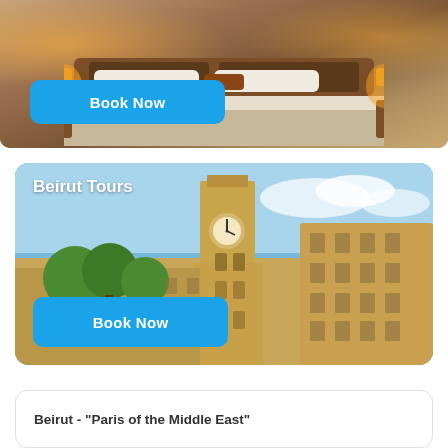[Figure (photo): Hotel room with wooden bed, white pillows, warm lamp lighting and decorative headboard]
Book Now
[Figure (photo): Beirut city scene featuring the famous clock tower (Nejmeh Square) and historic yellow stone buildings under a blue sky with trees]
Beirut Tours
Book Now
Beirut - "Paris of the Middle East"